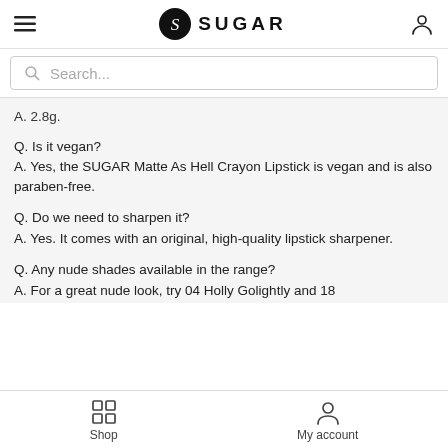SUGAR (logo with hamburger menu and account icon)
Search...
A. 2.8g.
Q. Is it vegan?
A. Yes, the SUGAR Matte As Hell Crayon Lipstick is vegan and is also paraben-free.
Q. Do we need to sharpen it?
A. Yes. It comes with an original, high-quality lipstick sharpener.
Q. Any nude shades available in the range?
A. For a great nude look, try 04 Holly Golightly and 18
Shop   My account